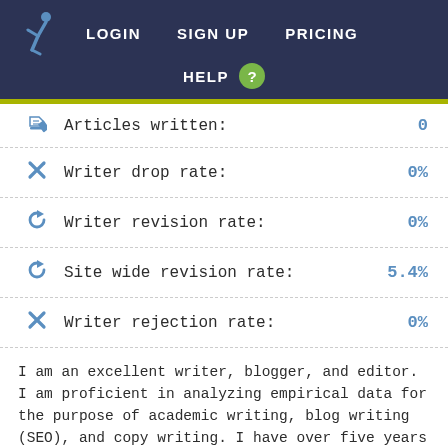LOGIN   SIGN UP   PRICING   HELP ?
Articles written: 0
Writer drop rate: 0%
Writer revision rate: 0%
Site wide revision rate: 5.4%
Writer rejection rate: 0%
I am an excellent writer, blogger, and editor. I am proficient in analyzing empirical data for the purpose of academic writing, blog writing (SEO), and copy writing. I have over five years experience working as a freelance writer, specializing in writing and editing I embody a ...
VIEW FULL PROFILE ▶